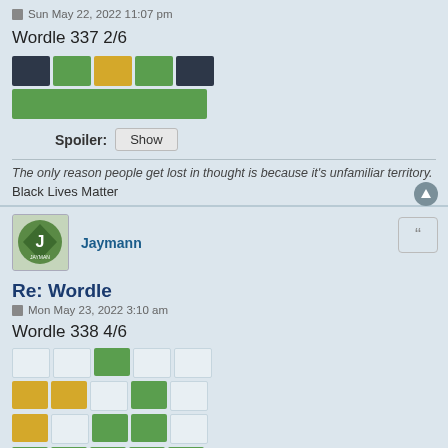Sun May 22, 2022 11:07 pm
Wordle 337 2/6
[Figure (other): Wordle 337 result grid: row 1 has dark, green, yellow, green, dark tiles; row 2 is all green]
Spoiler: Show
The only reason people get lost in thought is because it's unfamiliar territory.
Black Lives Matter
Jaymann
Re: Wordle
Mon May 23, 2022 3:10 am
Wordle 338 4/6
[Figure (other): Wordle 338 result grid showing partial green and yellow tiles across 4 rows]